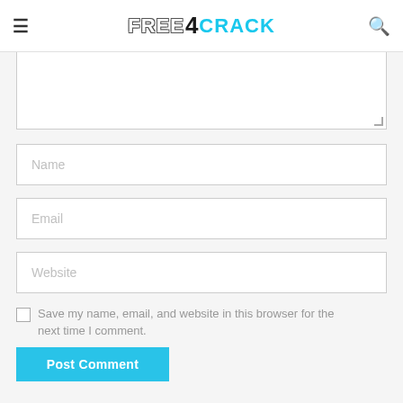FREE4CRACK
[Figure (screenshot): Comment form with textarea, Name field, Email field, Website field, save checkbox, and Post Comment button]
Save my name, email, and website in this browser for the next time I comment.
Post Comment